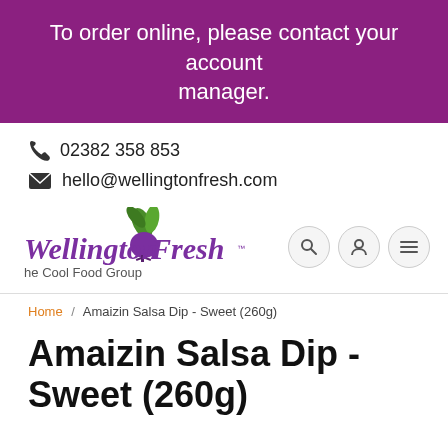To order online, please contact your account manager.
02382 358 853
hello@wellingtonfresh.com
[Figure (logo): Wellington Fresh – The Cool Food Group logo with purple stylized text and vegetable illustration]
Home / Amaizin Salsa Dip - Sweet (260g)
Amaizin Salsa Dip - Sweet (260g)